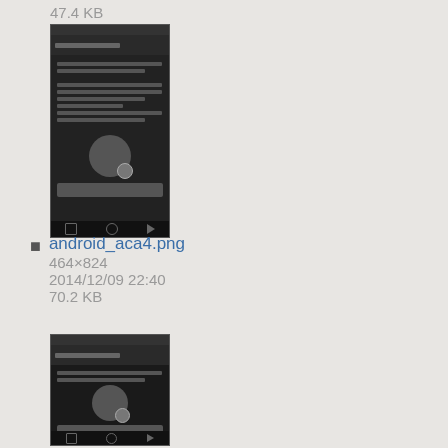47.4 KB
[Figure (screenshot): Android app screenshot thumbnail showing account/profile screen with avatar and checkmark]
android_aca4.png
464×824
2014/12/09 22:40
70.2 KB
[Figure (screenshot): Android app screenshot thumbnail showing account/profile screen with avatar and checkmark, larger version]
android_aca5.png
1080×1920
2014/12/16 23:20
120.4 KB
[Figure (screenshot): Email or post document thumbnail showing iPost header with red icon and blue link lines]